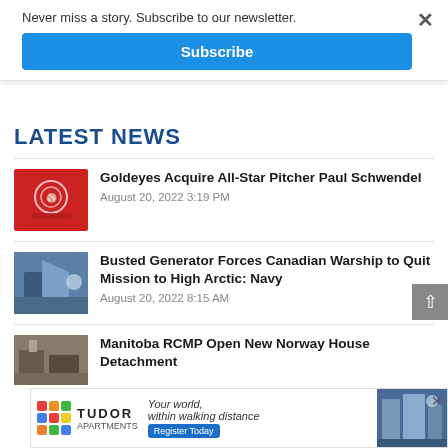Never miss a story. Subscribe to our newsletter.
Subscribe
LATEST NEWS
Goldeyes Acquire All-Star Pitcher Paul Schwendel
August 20, 2022 3:19 PM
Busted Generator Forces Canadian Warship to Quit Mission to High Arctic: Navy
August 20, 2022 8:15 AM
Manitoba RCMP Open New Norway House Detachment
[Figure (infographic): Tudor Apartments advertisement banner: colorful logo grid, brand name, slogan 'Your world, within walking distance', Register Today button, and building photo]